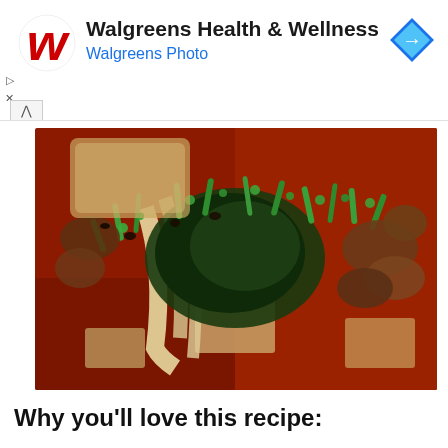[Figure (other): Walgreens Health & Wellness advertisement banner with Walgreens logo (red W), title text 'Walgreens Health & Wellness', subtitle 'Walgreens Photo', and a blue diamond arrow icon on the right. Small play and close icons on the left side. A chevron/up arrow below the banner.]
[Figure (photo): Close-up food photo of an Asian soup or stew dish with tofu, mushrooms, wilted greens (bok choy), chopped green onions/scallions, all in a rich reddish-brown broth.]
Why you'll love this recipe: